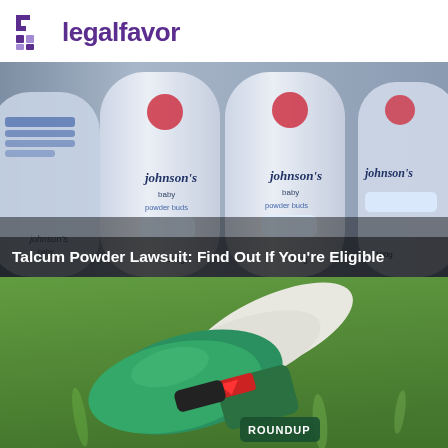legalfavor
[Figure (photo): Multiple Johnson's baby powder bottles (100g) arranged side by side on a shelf, with red circular labels visible on the bottles. Image has a blue-grey tint.]
Talcum Powder Lawsuit: Find Out If You're Eligible
[Figure (photo): A gloved hand wearing green rubber gloves holding a Roundup herbicide spray bottle trigger, aimed at green grass.]